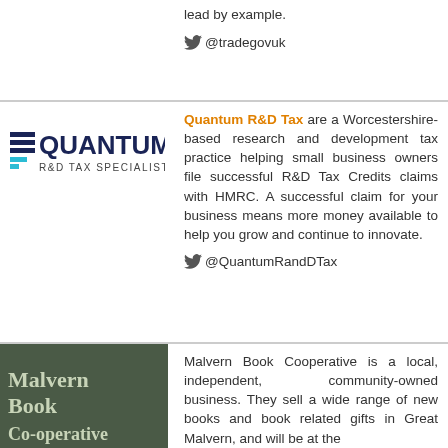lead by example.
@tradegovuk
[Figure (logo): Quantum R&D Tax Specialists logo with dark blue and teal shield icon]
Quantum R&D Tax are a Worcestershire-based research and development tax practice helping small business owners file successful R&D Tax Credits claims with HMRC. A successful claim for your business means more money available to help you grow and continue to innovate.
@QuantumRandDTax
[Figure (photo): Malvern Book Co-operative store sign on dark background]
Malvern Book Cooperative is a local, independent, community-owned business. They sell a wide range of new books and book related gifts in Great Malvern, and will be at the